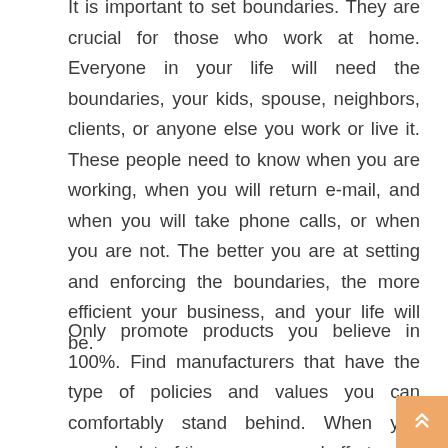It is important to set boundaries. They are crucial for those who work at home. Everyone in your life will need the boundaries, your kids, spouse, neighbors, clients, or anyone else you work or live it. These people need to know when you are working, when you will return e-mail, and when you will take phone calls, or when you are not. The better you are at setting and enforcing the boundaries, the more efficient your business, and your life will be.
Only promote products you believe in 100%. Find manufacturers that have the type of policies and values you can comfortably stand behind. When you spend a lot of time, money, and effort